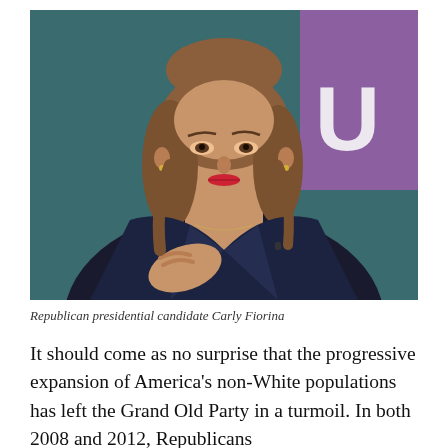[Figure (photo): Photo of Republican presidential candidate Carly Fiorina, a woman with shoulder-length brown hair wearing a dark blazer, gesturing with her hands against a teal/dark background with a purple banner visible in the upper right corner.]
Republican presidential candidate Carly Fiorina
It should come as no surprise that the progressive expansion of America's non-White populations has left the Grand Old Party in a turmoil. In both 2008 and 2012, Republicans